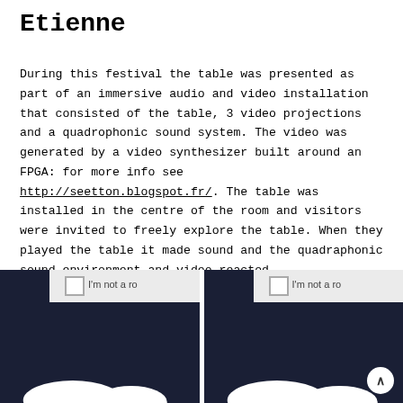Etienne
During this festival the table was presented as part of an immersive audio and video installation that consisted of the table, 3 video projections and a quadrophonic sound system. The video was generated by a video synthesizer built around an FPGA: for more info see http://seetton.blogspot.fr/. The table was installed in the centre of the room and visitors were invited to freely explore the table. When they played the table it made sound and the quadraphonic sound environment and video reacted.
[Figure (screenshot): Two side-by-side dark blue/navy screenshots showing a CAPTCHA-like interface with checkbox and 'I'm not a ro' text visible, with white blob shapes at the bottom and a scroll-up button in the right image.]